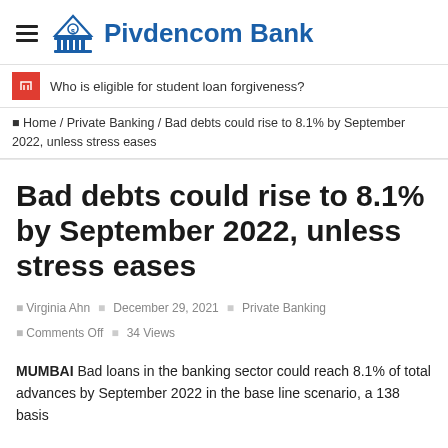Pivdencom Bank
Who is eligible for student loan forgiveness?
Home / Private Banking / Bad debts could rise to 8.1% by September 2022, unless stress eases
Bad debts could rise to 8.1% by September 2022, unless stress eases
Virginia Ahn  December 29, 2021  Private Banking  Comments Off  34 Views
MUMBAI Bad loans in the banking sector could reach 8.1% of total advances by September 2022 in the base line scenario, a 138 basis